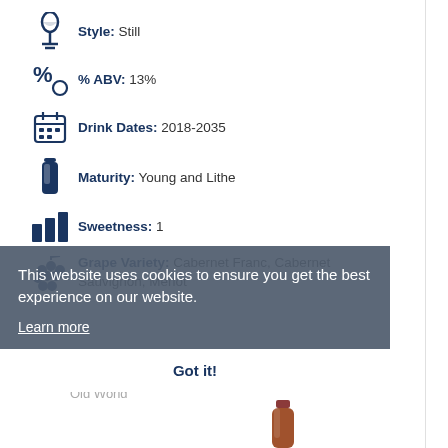Style: Still
% ABV: 13%
Drink Dates: 2018-2035
Maturity: Young and Lithe
Sweetness: 1
Grape Variety: Cabernet Franc, Cabernet Sauvignon, Merlot
This website uses cookies to ensure you get the best experience on our website.
Learn more
Got it!
Related Products
Old World